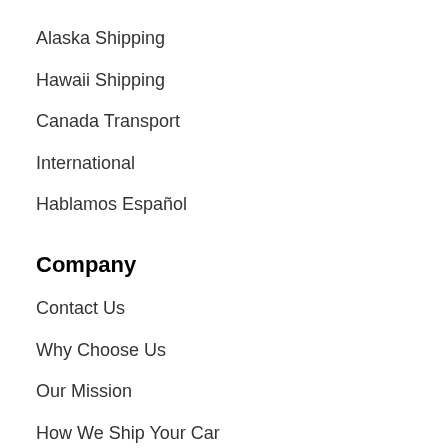Alaska Shipping
Hawaii Shipping
Canada Transport
International
Hablamos Español
Company
Contact Us
Why Choose Us
Our Mission
How We Ship Your Car
Prepare for Transport
Knowledge Base
Connect With Us